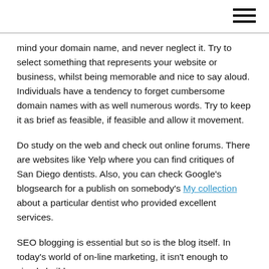mind your domain name, and never neglect it. Try to select something that represents your website or business, whilst being memorable and nice to say aloud. Individuals have a tendency to forget cumbersome domain names with as well numerous words. Try to keep it as brief as feasible, if feasible and allow it movement.
Do study on the web and check out online forums. There are websites like Yelp where you can find critiques of San Diego dentists. Also, you can check Google’s blogsearch for a publish on somebody’s My collection about a particular dentist who provided excellent services.
SEO blogging is essential but so is the blog itself. In today’s world of on-line marketing, it isn’t enough to simply build an